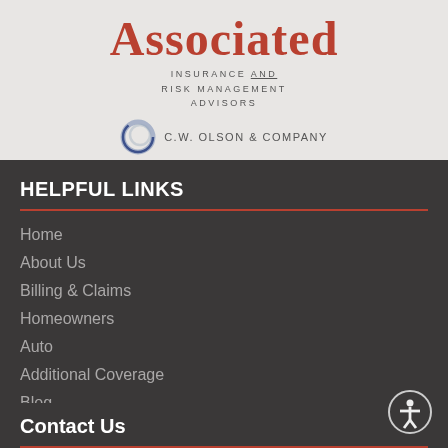[Figure (logo): Associated Insurance and Risk Management Advisors logo with C.W. Olson & Company partner logo]
HELPFUL LINKS
Home
About Us
Billing & Claims
Homeowners
Auto
Additional Coverage
Blog
Contact Us